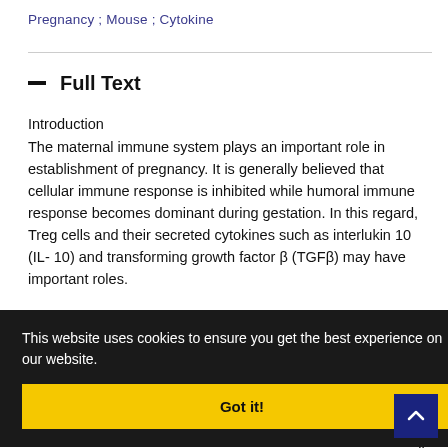Pregnancy ;   Mouse ;   Cytokine
— Full Text
Introduction
The maternal immune system plays an important role in establishment of pregnancy. It is generally believed that cellular immune response is inhibited while humoral immune response becomes dominant during gestation. In this regard, Treg cells and their secreted cytokines such as interlukin 10 (IL- 10) and transforming growth factor β (TGFβ) may have important roles.
es during 04. Treg ain the also argued ese cells Many or the immunosuppressive effect of Treg lymphocytes. IL-10
This website uses cookies to ensure you get the best experience on our website.
Got it!